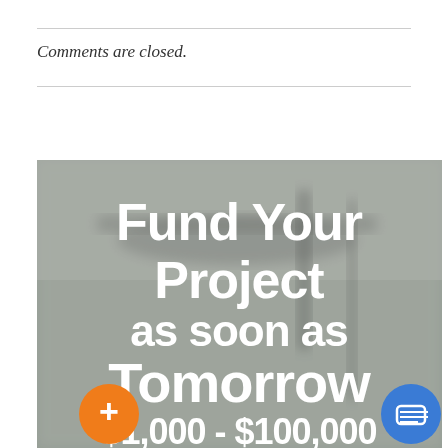Comments are closed.
[Figure (photo): Promotional banner image with blurred financial documents/papers in background. Large white bold text reads: 'Fund Your Project as soon as Tomorrow $1,000 - $100,000'. An orange circle button with a plus sign is at the bottom left, and a blue circle chat button is at the bottom right.]